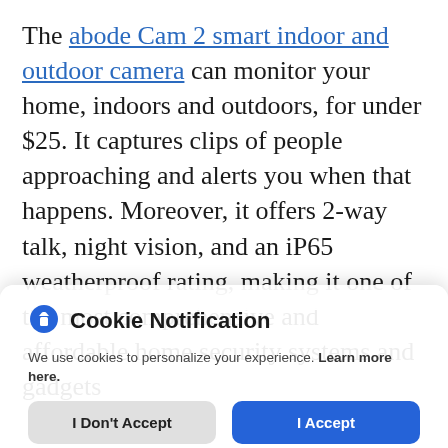The abode Cam 2 smart indoor and outdoor camera can monitor your home, indoors and outdoors, for under $25. It captures clips of people approaching and alerts you when that happens. Moreover, it offers 2-way talk, night vision, and an iP65 weatherproof rating, making it one of the most comprehensive and affordable home security systems and gadgets …
[Figure (screenshot): Cookie Notification modal with shield icon, text 'We use cookies to personalize your experience. Learn more here.' and two buttons: 'I Don't Accept' (gray) and 'I Accept' (blue)]